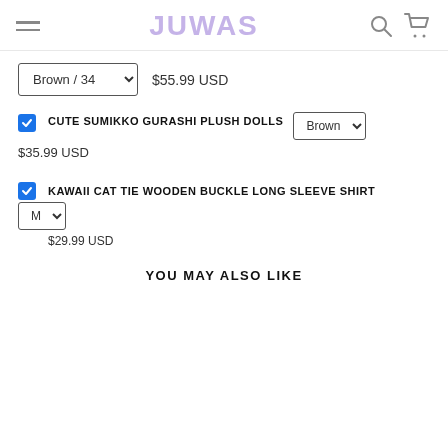JUWAS
Brown / 34  $55.99 USD
CUTE SUMIKKO GURASHI PLUSH DOLLS  Brown  $35.99 USD
KAWAII CAT TIE WOODEN BUCKLE LONG SLEEVE SHIRT  M  $29.99 USD
YOU MAY ALSO LIKE